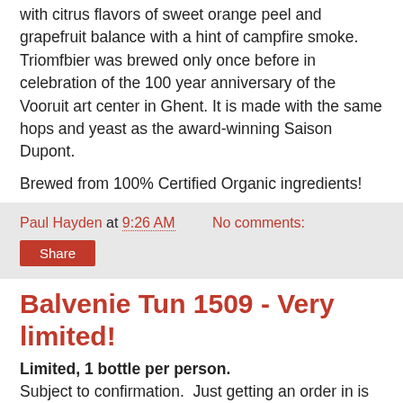with citrus flavors of sweet orange peel and grapefruit balance with a hint of campfire smoke. Triomfbier was brewed only once before in celebration of the 100 year anniversary of the Vooruit art center in Ghent. It is made with the same hops and yeast as the award-winning Saison Dupont.
Brewed from 100% Certified Organic ingredients!
Paul Hayden at 9:26 AM   No comments:
Share
Balvenie Tun 1509 - Very limited!
Limited, 1 bottle per person.
Subject to confirmation.  Just getting an order in is no guarantee.  It will be first come based on orders that come in first.